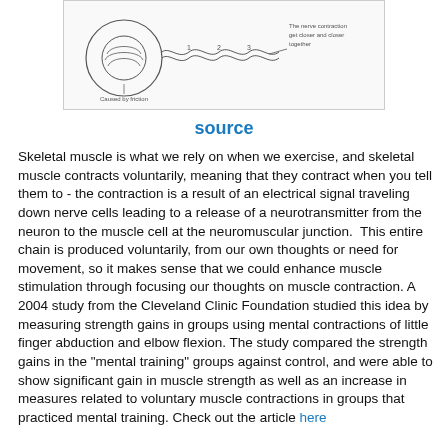[Figure (illustration): Diagram of muscle fiber contraction mechanism showing nerve pulling muscle closer together, caused by friction on the joint.]
source
Skeletal muscle is what we rely on when we exercise, and skeletal muscle contracts voluntarily, meaning that they contract when you tell them to - the contraction is a result of an electrical signal traveling down nerve cells leading to a release of a neurotransmitter from the neuron to the muscle cell at the neuromuscular junction.  This entire chain is produced voluntarily, from our own thoughts or need for movement, so it makes sense that we could enhance muscle stimulation through focusing our thoughts on muscle contraction. A 2004 study from the Cleveland Clinic Foundation studied this idea by measuring strength gains in groups using mental contractions of little finger abduction and elbow flexion. The study compared the strength gains in the "mental training" groups against control, and were able to show significant gain in muscle strength as well as an increase in measures related to voluntary muscle contractions in groups that practiced mental training. Check out the article here